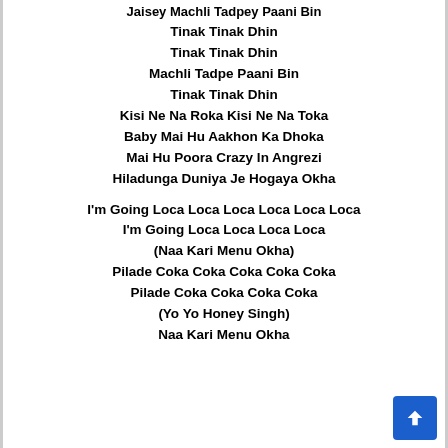Jaisey Machli Tadpey Paani Bin
Tinak Tinak Dhin
Tinak Tinak Dhin
Machli Tadpe Paani Bin
Tinak Tinak Dhin
Kisi Ne Na Roka Kisi Ne Na Toka
Baby Mai Hu Aakhon Ka Dhoka
Mai Hu Poora Crazy In Angrezi
Hiladunga Duniya Je Hogaya Okha
I'm Going Loca Loca Loca Loca Loca Loca
I'm Going Loca Loca Loca Loca
(Naa Kari Menu Okha)
Pilade Coka Coka Coka Coka Coka
Pilade Coka Coka Coka Coka
(Yo Yo Honey Singh)
Naa Kari Menu Okha